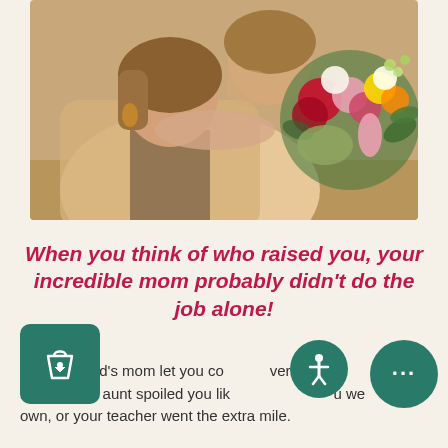[Figure (photo): A woman receiving a kiss on the cheek from another person, both smiling, holding a bouquet of colorful flowers including red roses, pink flowers, calla lilies, and greenery on a warm beige background.]
When you think of who raised you, your incredible mom probably didn't do the job alone!
ur best friend's mom let you co… ver… Maybe your aunt spoiled you lik… u we… own, or your teacher went the extra mile.